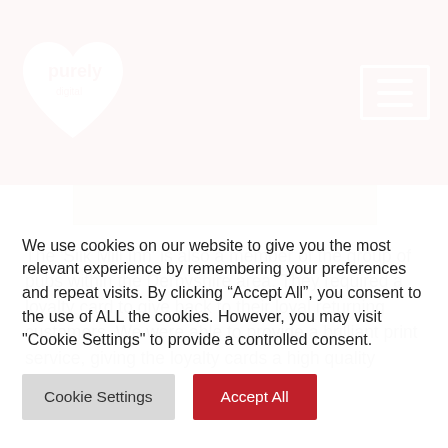purely digital
[Figure (photo): Partial view of a loyalty card with beige/cream textured background]
The ‘Silk Mill Inn’ is also a member of the group of pubs within the Derbyshire area. They required a loyalty card to give back to their loyal returning customers. We were able to provide a brilliant print service, giving the loyalty cards a high quality finish.
We use cookies on our website to give you the most relevant experience by remembering your preferences and repeat visits. By clicking “Accept All”, you consent to the use of ALL the cookies. However, you may visit "Cookie Settings" to provide a controlled consent.